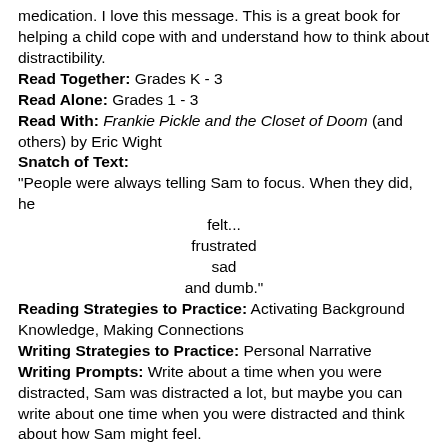medication. I love this message. This is a great book for helping a child cope with and understand how to think about distractibility.
Read Together: Grades K - 3
Read Alone: Grades 1 - 3
Read With: Frankie Pickle and the Closet of Doom (and others) by Eric Wight
Snatch of Text:
"People were always telling Sam to focus. When they did, he felt...
frustrated
sad
and dumb."
Reading Strategies to Practice: Activating Background Knowledge, Making Connections
Writing Strategies to Practice: Personal Narrative
Writing Prompts: Write about a time when you were distracted, Sam was distracted a lot, but maybe you can write about one time when you were distracted and think about how Sam might feel.
Topics Covered: Concentration, Family, Determination, Hard work, Feelings, Integration - Science